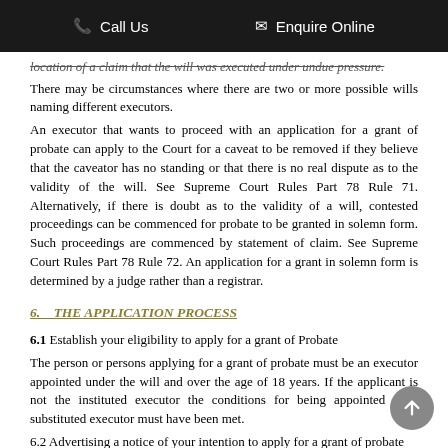Call Us   Enquire Online
location of a claim that the will was executed under undue pressure.
There may be circumstances where there are two or more possible wills naming different executors.
An executor that wants to proceed with an application for a grant of probate can apply to the Court for a caveat to be removed if they believe that the caveator has no standing or that there is no real dispute as to the validity of the will. See Supreme Court Rules Part 78 Rule 71. Alternatively, if there is doubt as to the validity of a will, contested proceedings can be commenced for probate to be granted in solemn form. Such proceedings are commenced by statement of claim. See Supreme Court Rules Part 78 Rule 72. An application for a grant in solemn form is determined by a judge rather than a registrar.
6.    THE APPLICATION PROCESS
6.1 Establish your eligibility to apply for a grant of Probate
The person or persons applying for a grant of probate must be an executor appointed under the will and over the age of 18 years. If the applicant is not the instituted executor the conditions for being appointed as a substituted executor must have been met.
6.2 Advertising a notice of your intention to apply for a grant of probate